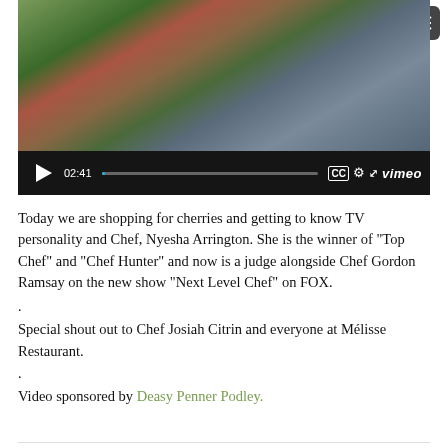[Figure (screenshot): Embedded Vimeo video player showing a market scene with people shopping, video duration 02:41, paused at start with playback controls visible]
Today we are shopping for cherries and getting to know TV personality and Chef, Nyesha Arrington. She is the winner of “Top Chef” and “Chef Hunter” and now is a judge alongside Chef Gordon Ramsay on the new show “Next Level Chef” on FOX.
.
Special shout out to Chef Josiah Citrin and everyone at Mélisse Restaurant.
.
Video sponsored by Deasy Penner Podley.